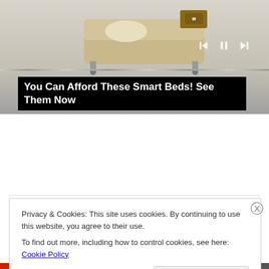[Figure (screenshot): Ad banner showing a smart bed with wooden drawer, playback controls (skip back, pause, skip forward), and a progress/slider bar. Black overlay caption reads 'You Can Afford These Smart Beds! See Them Now']
You Can Afford These Smart Beds! See Them Now
Share this:
Twitter  Facebook  Print  Email
Loading
Privacy & Cookies: This site uses cookies. By continuing to use this website, you agree to their use.
To find out more, including how to control cookies, see here: Cookie Policy
Close and accept